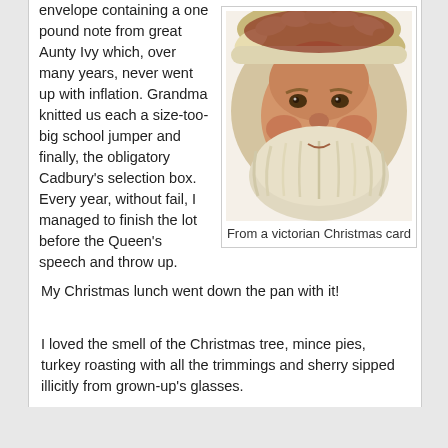envelope containing a one pound note from great Aunty Ivy which, over many years, never went up with inflation. Grandma knitted us each a size-too-big school jumper and finally, the obligatory Cadbury's selection box. Every year, without fail, I managed to finish the lot before the Queen's speech and throw up. My Christmas lunch went down the pan with it!
[Figure (illustration): Victorian-style illustration of Santa Claus face with white beard and fur-trimmed hat, circular composition]
From a victorian Christmas card
I loved the smell of the Christmas tree, mince pies, turkey roasting with all the trimmings and sherry sipped illicitly from grown-up's glasses.